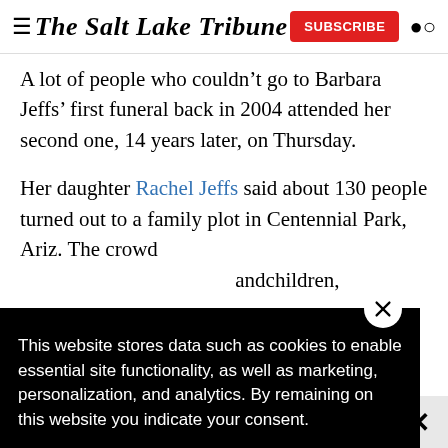The Salt Lake Tribune
A lot of people who couldn't go to Barbara Jeffs' first funeral back in 2004 attended her second one, 14 years later, on Thursday.
Her daughter Rachel Jeffs said about 130 people turned out to a family plot in Centennial Park, Ariz. The crowd …andchildren,
…el Jeffs said.
[Figure (screenshot): Cookie consent overlay popup with text about data storage policy, close button (X circle), and a Data Storage Policy link]
This website stores data such as cookies to enable essential site functionality, as well as marketing, personalization, and analytics. By remaining on this website you indicate your consent.
Data Storage Policy